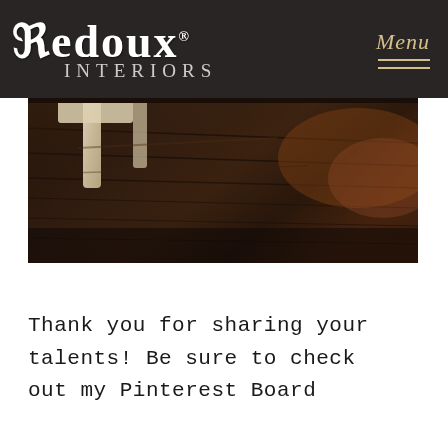[Figure (logo): Redoux Interiors logo - white decorative text on dark background with 'REDOUX' in large ornate font and 'INTERIORS' below in spaced caps. Menu button with italic script text and two horizontal lines in gold on the right.]
[Figure (photo): Interior floor shot showing dark hardwood floors with a light-colored chair/furniture leg visible on the left side. Warm blurred lighting in background.]
Thank you for sharing your talents! Be sure to check out my Pinterest Board